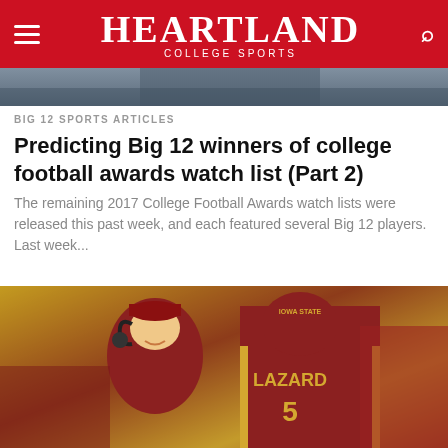HEARTLAND COLLEGE SPORTS
[Figure (photo): Partial view of a college football player in purple uniform, cropped at top of page]
BIG 12 SPORTS ARTICLES
Predicting Big 12 winners of college football awards watch list (Part 2)
The remaining 2017 College Football Awards watch lists were released this past week, and each featured several Big 12 players. Last week...
[Figure (photo): Iowa State football player Allen Lazard wearing #5 jersey with LAZARD on back, and a coach wearing headset smiling, on the sideline]
BIG 12 SPORTS ARTICLES
NFL on hold for Allen Lazard with plenty left to accomplish at Iowa State